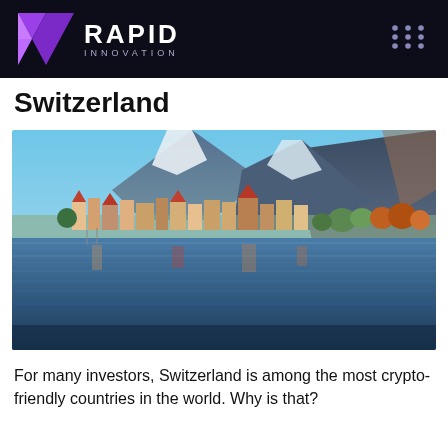RAPID INNOVATION
Switzerland
[Figure (photo): Panoramic view of a Swiss lakeside city with colorful buildings reflected in calm water, snow-capped mountains and blue sky in the background.]
For many investors, Switzerland is among the most crypto-friendly countries in the world. Why is that?